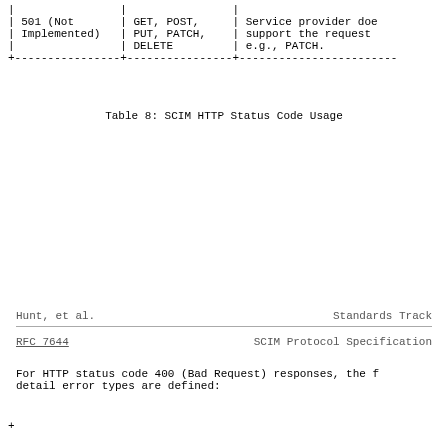| | | | | | |
| | 501 (Not | | GET, POST, | | Service provider doe |
| | Implemented) | | PUT, PATCH, | | support the request |
| | | | DELETE | | e.g., PATCH. |
| +----------------+----------------+------------------------ |
Table 8: SCIM HTTP Status Code Usage
Hunt, et al.                    Standards Track
RFC 7644                    SCIM Protocol Specification
For HTTP status code 400 (Bad Request) responses, the f
detail error types are defined:
| bottom table start row |